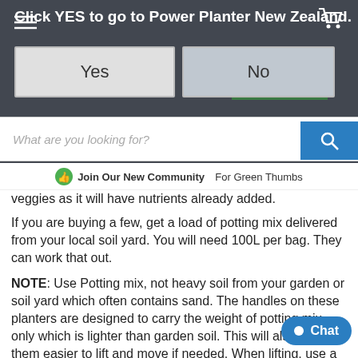Click YES to go to Power Planter New Zealand.
[Figure (screenshot): Modal dialog over a website with Yes and No buttons, search bar, and store background image]
Join Our New Community For Green Thumbs
veggies as it will have nutrients already added.
If you are buying a few, get a load of potting mix delivered from your local soil yard. You will need 100L per bag. They can work that out.
NOTE: Use Potting mix, not heavy soil from your garden or soil yard which often contains sand. The handles on these planters are designed to carry the weight of potting mix only which is lighter than garden soil. This will also make them easier to lift and move if needed. When lifting, use a smooth action rather than a quick jerk.
If you have used heavy garden soil, use a trolley to move